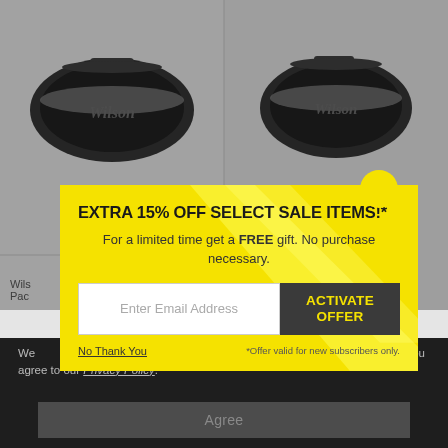[Figure (photo): Two black Wilson tennis bags displayed side by side on a gray product grid background]
Wils... Pac...
We... shopping experience. By using our website you agree to our Privacy Policy.
Agree
EXTRA 15% OFF SELECT SALE ITEMS!*
For a limited time get a FREE gift. No purchase necessary.
Enter Email Address
ACTIVATE OFFER
No Thank You
*Offer valid for new subscribers only.